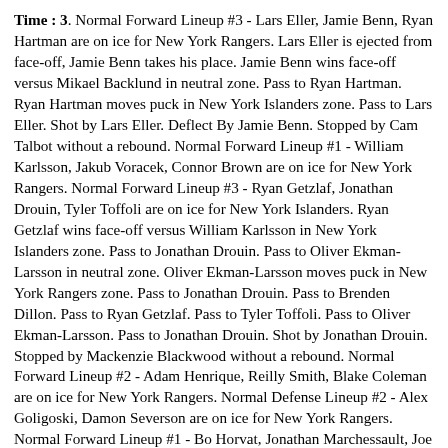Time : 3. Normal Forward Lineup #3 - Lars Eller, Jamie Benn, Ryan Hartman are on ice for New York Rangers. Lars Eller is ejected from face-off, Jamie Benn takes his place. Jamie Benn wins face-off versus Mikael Backlund in neutral zone. Pass to Ryan Hartman. Ryan Hartman moves puck in New York Islanders zone. Pass to Lars Eller. Shot by Lars Eller. Deflect By Jamie Benn. Stopped by Cam Talbot without a rebound. Normal Forward Lineup #1 - William Karlsson, Jakub Voracek, Connor Brown are on ice for New York Rangers. Normal Forward Lineup #3 - Ryan Getzlaf, Jonathan Drouin, Tyler Toffoli are on ice for New York Islanders. Ryan Getzlaf wins face-off versus William Karlsson in New York Islanders zone. Pass to Jonathan Drouin. Pass to Oliver Ekman-Larsson in neutral zone. Oliver Ekman-Larsson moves puck in New York Rangers zone. Pass to Jonathan Drouin. Pass to Brenden Dillon. Pass to Ryan Getzlaf. Pass to Tyler Toffoli. Pass to Oliver Ekman-Larsson. Pass to Jonathan Drouin. Shot by Jonathan Drouin. Stopped by Mackenzie Blackwood without a rebound. Normal Forward Lineup #2 - Adam Henrique, Reilly Smith, Blake Coleman are on ice for New York Rangers. Normal Defense Lineup #2 - Alex Goligoski, Damon Severson are on ice for New York Rangers. Normal Forward Lineup #1 - Bo Horvat, Jonathan Marchessault, Joe Pavelski are on ice for New York Islanders. Normal Defense Lineup #2 - Adam Pelech, Erik Karlsson are on ice for New York Islanders. Adam Henrique wins face-off versus